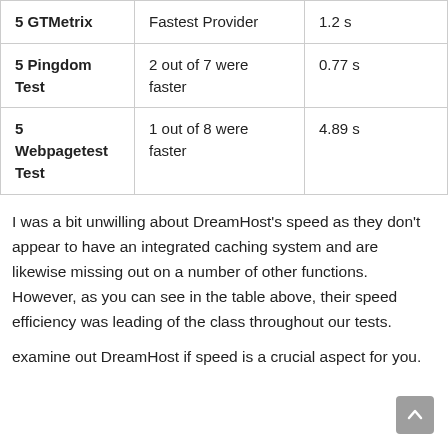|  |  |  |
| --- | --- | --- |
| 5 GTMetrix | Fastest Provider | 1.2 s |
| 5 Pingdom Test | 2 out of 7 were faster | 0.77 s |
| 5 Webpagetest Test | 1 out of 8 were faster | 4.89 s |
I was a bit unwilling about DreamHost's speed as they don't appear to have an integrated caching system and are likewise missing out on a number of other functions. However, as you can see in the table above, their speed efficiency was leading of the class throughout our tests.
examine out DreamHost if speed is a crucial aspect for you.